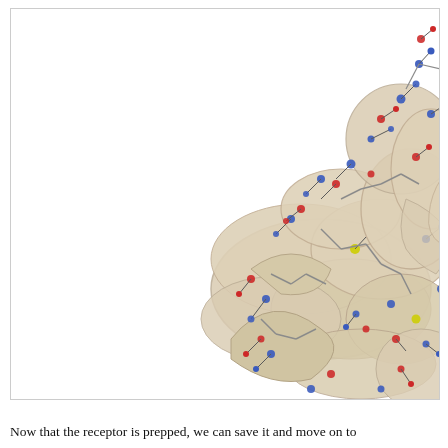[Figure (illustration): 3D molecular structure rendering of a protein receptor shown in ribbon/ball-and-stick style. The structure features tan/beige ribbon helices intertwined with ball-and-stick atomic representations of amino acid side chains. Atoms are colored by element: blue for nitrogen, red for oxygen, yellow for sulfur, and light/white for carbon. The protein complex occupies the right and center portion of the frame against a white background.]
Now that the receptor is prepped, we can save it and move on to